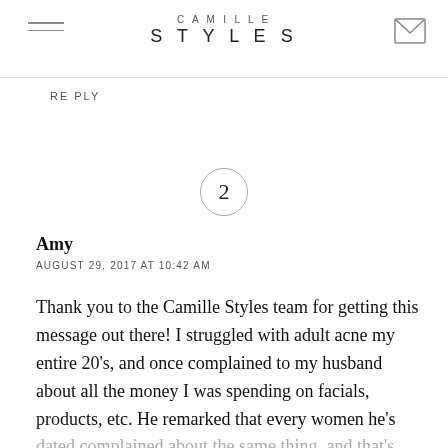CAMILLE STYLES
RE PLY
2
Amy
AUGUST 29, 2017 AT 10:42 AM
Thank you to the Camille Styles team for getting this message out there! I struggled with adult acne my entire 20's, and once complained to my husband about all the money I was spending on facials, products, etc. He remarked that every women he's dated complained about the same thing, and that's when I realized, I've NEVER heard an adult man